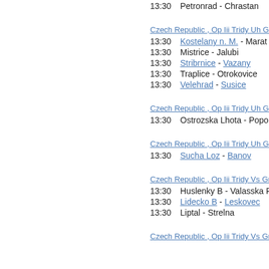13:30  Petronrad - Chrastan
Czech Republic , Op Iii Tridy Uh Group A
13:30  Kostelany n. M. - Marath
13:30  Mistrice - Jalubi
13:30  Stribrnice - Vazany
13:30  Traplice - Otrokovice
13:30  Velehrad - Susice
Czech Republic , Op Iii Tridy Uh Group B
13:30  Ostrozska Lhota - Popo
Czech Republic , Op Iii Tridy Uh Group C
13:30  Sucha Loz - Banov
Czech Republic , Op Iii Tridy Vs Group A
13:30  Huslenky B - Valasska Pola
13:30  Lidecko B - Leskovec
13:30  Liptal - Strelna
Czech Republic , Op Iii Tridy Vs Group B